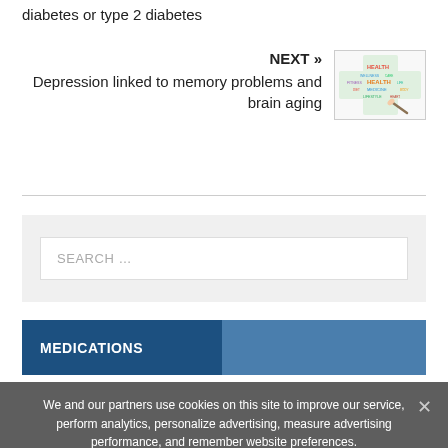diabetes or type 2 diabetes
NEXT »
Depression linked to memory problems and brain aging
[Figure (illustration): Health word cloud image showing colorful health-related terms in a cross/plus shape with a hand holding a pen]
SEARCH ...
MEDICATIONS
We and our partners use cookies on this site to improve our service, perform analytics, personalize advertising, measure advertising performance, and remember website preferences.
Ok